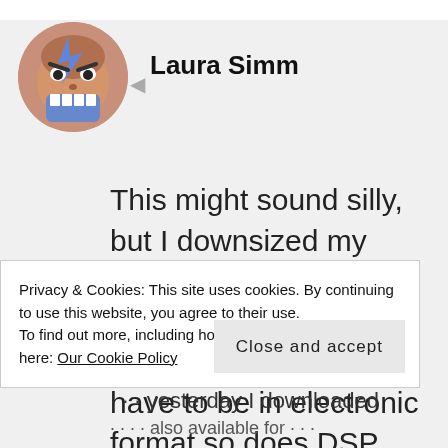[Figure (illustration): Circular avatar showing a cartoon angry face with lightning bolt and blue teeth/jaw element]
Laura Simm
This might sound silly, but I downsized my living space last year and all of my new books going forward have to be in electronic format so does DSP have access to
Privacy & Cookies: This site uses cookies. By continuing to use this website, you agree to their use.
To find out more, including how to control cookies, see here: Our Cookie Policy
Close and accept
yesterday I downloaded